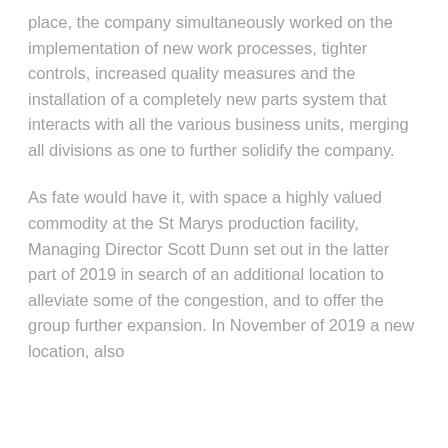place, the company simultaneously worked on the implementation of new work processes, tighter controls, increased quality measures and the installation of a completely new parts system that interacts with all the various business units, merging all divisions as one to further solidify the company.
As fate would have it, with space a highly valued commodity at the St Marys production facility, Managing Director Scott Dunn set out in the latter part of 2019 in search of an additional location to alleviate some of the congestion, and to offer the group further expansion. In November of 2019 a new location, also